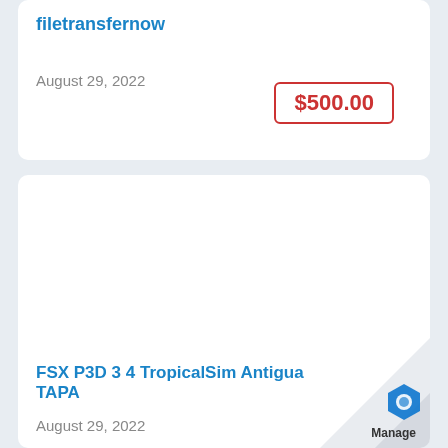filetransfernow
August 29, 2022
$500.00
FSX P3D 3 4 TropicalSim Antigua TAPA
August 29, 2022